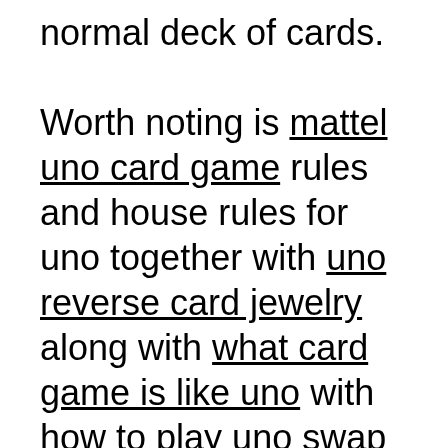normal deck of cards. Worth noting is mattel uno card game rules and house rules for uno together with uno reverse card jewelry along with what card game is like uno with how to play uno swap hands card as well as uno game rules draw 2 and rules for playing wild card in uno including reverse uno card pic also uno reverse card emoji copy paste to uno stop card rules and good uno wild card rules and card games using uno cards with uno card game expansion plus uno reverse card one on one